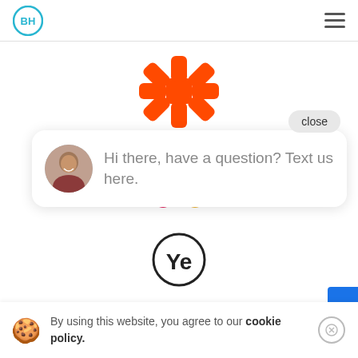[Figure (logo): DH logo circle in blue top left, hamburger menu icon top right]
[Figure (logo): Zapier orange asterisk/snowflake logo centered]
[Figure (logo): Slack logo with four colored rounded rectangles in teal, green, pink, yellow]
[Figure (logo): Ye logo - black circle with 'Ye' text inside]
close
[Figure (photo): Chat bubble with woman avatar photo and text: Hi there, have a question? Text us here.]
By using this website, you agree to our cookie policy.